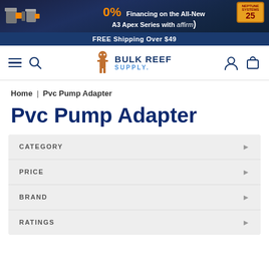[Figure (screenshot): Top promotional banner with pump images, 0% financing offer for A3 Apex Series with Affirm, and 25th anniversary badge]
FREE Shipping Over $49
[Figure (logo): Bulk Reef Supply logo with mascot character]
Home | Pvc Pump Adapter
Pvc Pump Adapter
CATEGORY
PRICE
BRAND
RATINGS